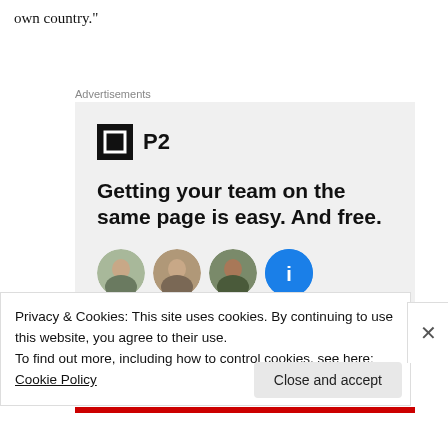own country."
Advertisements
[Figure (illustration): P2 advertisement banner with logo, headline 'Getting your team on the same page is easy. And free.' and circular avatar images of team members]
Privacy & Cookies: This site uses cookies. By continuing to use this website, you agree to their use.
To find out more, including how to control cookies, see here: Cookie Policy
Close and accept